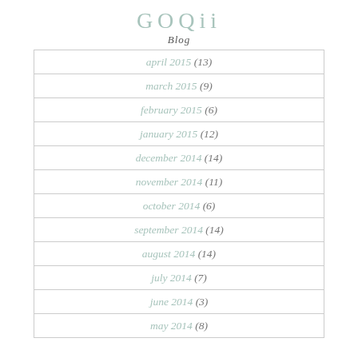GOQii Blog
april 2015 (13)
march 2015 (9)
february 2015 (6)
january 2015 (12)
december 2014 (14)
november 2014 (11)
october 2014 (6)
september 2014 (14)
august 2014 (14)
july 2014 (7)
june 2014 (3)
may 2014 (8)